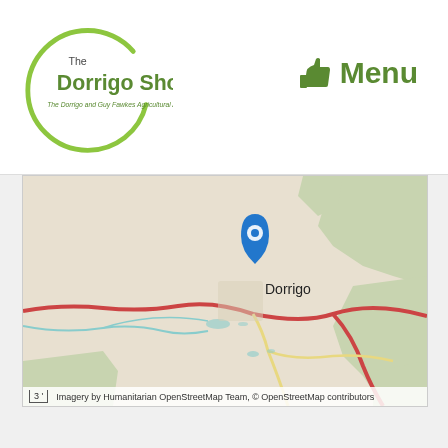[Figure (logo): The Dorrigo Show logo — circular green arc with text 'The Dorrigo Show' and subtitle 'The Dorrigo and Guy Fawkes Agricultural Association Inc.']
Menu
[Figure (map): OpenStreetMap of Dorrigo area showing surrounding rural landscape, roads, and a blue location pin marker over Dorrigo town. Red roads, light-green forested areas, teal waterways visible. Town label 'Dorrigo' shown.]
3'  Imagery by Humanitarian OpenStreetMap Team, © OpenStreetMap contributors